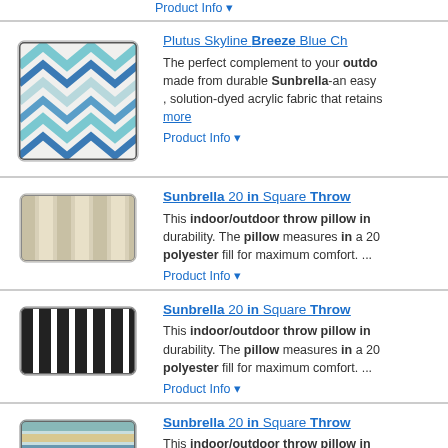Product Info ▼
[Figure (photo): Plutus Skyline Breeze Blue chevron pattern throw pillow]
Plutus Skyline Breeze Blue Ch... The perfect complement to your outdo... made from durable Sunbrella-an easy, solution-dyed acrylic fabric that retains... more
Product Info ▼
[Figure (photo): Sunbrella 20 in Square Throw Pillow - beige striped]
Sunbrella 20 in Square Throw... This indoor/outdoor throw pillow in... durability. The pillow measures in a 20... polyester fill for maximum comfort. ...
Product Info ▼
[Figure (photo): Sunbrella 20 in Square Throw Pillow - black and white striped]
Sunbrella 20 in Square Throw... This indoor/outdoor throw pillow in... durability. The pillow measures in a 20... polyester fill for maximum comfort. ...
Product Info ▼
[Figure (photo): Sunbrella 20 in Square Throw Pillow - teal striped]
Sunbrella 20 in Square Throw... This indoor/outdoor throw pillow in... durability. The pillow measures in a 20... polyester fill for maximum comfort. ...
Product Info ▼
Sunbrella 20 in Square Th...